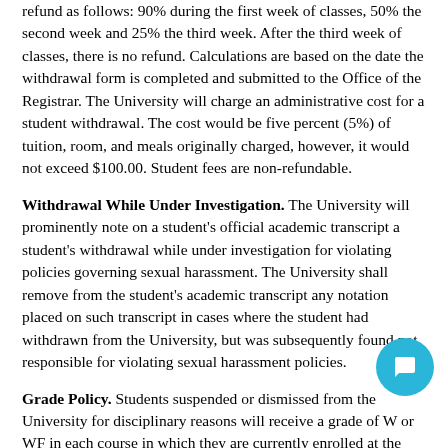refund as follows: 90% during the first week of classes, 50% the second week and 25% the third week. After the third week of classes, there is no refund. Calculations are based on the date the withdrawal form is completed and submitted to the Office of the Registrar. The University will charge an administrative cost for a student withdrawal. The cost would be five percent (5%) of tuition, room, and meals originally charged, however, it would not exceed $100.00. Student fees are non-refundable.
Withdrawal While Under Investigation. The University will prominently note on a student's official academic transcript a student's withdrawal while under investigation for violating policies governing sexual harassment. The University shall remove from the student's academic transcript any notation placed on such transcript in cases where the student had withdrawn from the University, but was subsequently found not responsible for violating sexual harassment policies.
Grade Policy. Students suspended or dismissed from the University for disciplinary reasons will receive a grade of W or WF in each course in which they are currently enrolled at the discretion of the instructor of that course, unless work in a course has already been completed, in which case the student will receive the grade already earned.
Refund Policy. Should a student be suspended or dismissed for